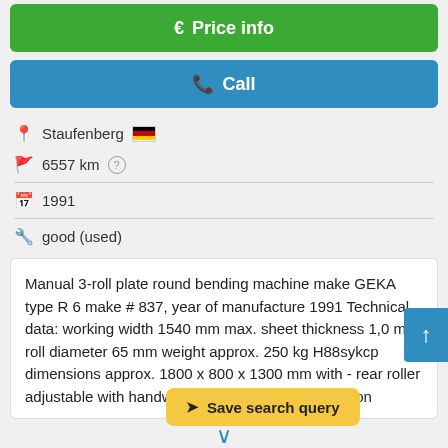€ Price info
Call
Staufenberg 🇩🇪
6557 km ?
1991
good (used)
Manual 3-roll plate round bending machine make GEKA type R 6 make # 837, year of manufacture 1991 Technical data: working width 1540 mm max. sheet thickness 1,0 mm roll diameter 65 mm weight approx. 250 kg H88sykcp dimensions approx. 1800 x 800 x 1300 mm with - rear roller adjustable with handwheel ... used, in good condition
Save search query